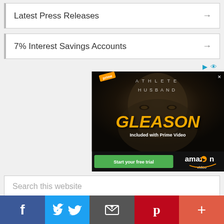Latest Press Releases →
7% Interest Savings Accounts →
[Figure (photo): Amazon Prime Video advertisement for 'Gleason' movie (Athlete Husband). Shows a man's face with movie title 'GLEASON' in yellow, 'ATHLETE HUSBAND' in white text, Amazon Prime badge top left, 'Included with Prime Video', green 'Start your free trial' button, and Amazon Video logo.]
Search this website
Facebook | Twitter | Email | Pinterest | More